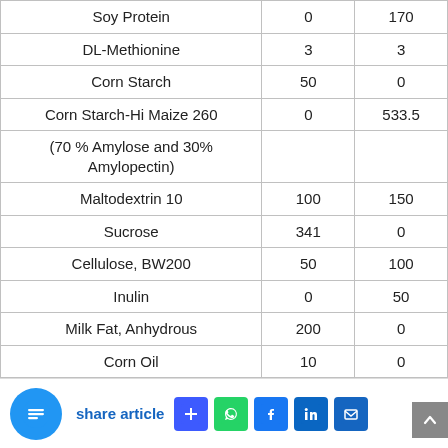| Ingredient | Col1 | Col2 |
| --- | --- | --- |
| Soy Protein | 0 | 170 |
| DL-Methionine | 3 | 3 |
| Corn Starch | 50 | 0 |
| Corn Starch-Hi Maize 260 | 0 | 533.5 |
| (70 % Amylose and 30% Amylopectin) |  |  |
| Maltodextrin 10 | 100 | 150 |
| Sucrose | 341 | 0 |
| Cellulose, BW200 | 50 | 100 |
| Inulin | 0 | 50 |
| Milk Fat, Anhydrous | 200 | 0 |
| Corn Oil | 10 | 0 |
share article